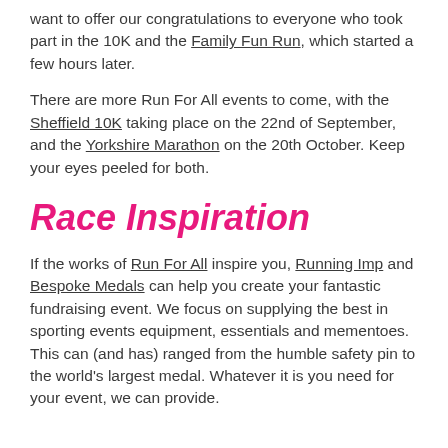want to offer our congratulations to everyone who took part in the 10K and the Family Fun Run, which started a few hours later.
There are more Run For All events to come, with the Sheffield 10K taking place on the 22nd of September, and the Yorkshire Marathon on the 20th October. Keep your eyes peeled for both.
Race Inspiration
If the works of Run For All inspire you, Running Imp and Bespoke Medals can help you create your fantastic fundraising event. We focus on supplying the best in sporting events equipment, essentials and mementoes. This can (and has) ranged from the humble safety pin to the world's largest medal. Whatever it is you need for your event, we can provide.